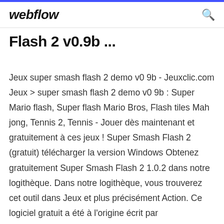webflow
Flash 2 v0.9b ...
Jeux super smash flash 2 demo v0 9b - Jeuxclic.com Jeux > super smash flash 2 demo v0 9b : Super Mario flash, Super flash Mario Bros, Flash tiles Mah jong, Tennis 2, Tennis - Jouer dès maintenant et gratuitement à ces jeux ! Super Smash Flash 2 (gratuit) télécharger la version Windows Obtenez gratuitement Super Smash Flash 2 1.0.2 dans notre logithèque. Dans notre logithèque, vous trouverez cet outil dans Jeux et plus précisément Action. Ce logiciel gratuit a été à l'origine écrit par McLeodGaming, Inc. Ce téléchargement a été vérifié par notre antivirus